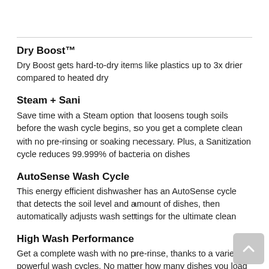Dry Boost™
Dry Boost gets hard-to-dry items like plastics up to 3x drier compared to heated dry
Steam + Sani
Save time with a Steam option that loosens tough soils before the wash cycle begins, so you get a complete clean with no pre-rinsing or soaking necessary. Plus, a Sanitization cycle reduces 99.999% of bacteria on dishes
AutoSense Wash Cycle
This energy efficient dishwasher has an AutoSense cycle that detects the soil level and amount of dishes, then automatically adjusts wash settings for the ultimate clean
High Wash Performance
Get a complete wash with no pre-rinse, thanks to a variety of powerful wash cycles. No matter how many dishes you load or how dirty they are, rest assured you'll